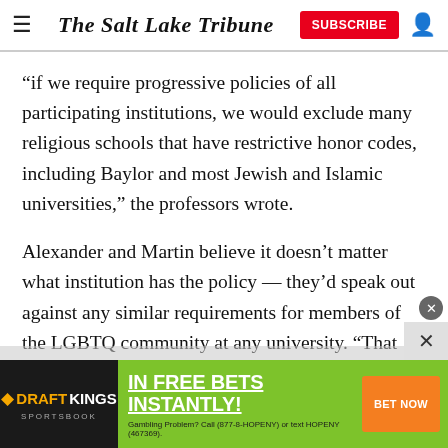The Salt Lake Tribune
“if we require progressive policies of all participating institutions, we would exclude many religious schools that have restrictive honor codes, including Baylor and most Jewish and Islamic universities,” the professors wrote.
Alexander and Martin believe it doesn’t matter what institution has the policy — they’d speak out against any similar requirements for members of the LGBTQ community at any university. “That ideology does not
[Figure (other): DraftKings Sportsbook advertisement banner: IN FREE BETS INSTANTLY! with BET NOW button. Gambling Problem? Call (877-8-HOPENY) or text HOPENY (467369).]